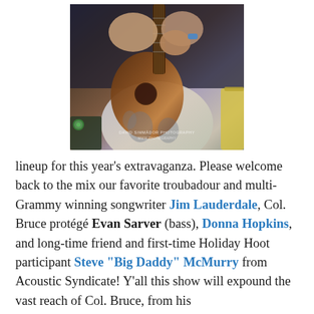[Figure (photo): Close-up photo of a person playing an acoustic guitar on stage, wearing a floral/Hawaiian print shirt. A guitar amplifier and equipment visible in the lower left. Photo credit watermark reads 'David Simm[a]dor Photography' at the bottom.]
lineup for this year's extravaganza. Please welcome back to the mix our favorite troubadour and multi-Grammy winning songwriter Jim Lauderdale, Col. Bruce protégé Evan Sarver (bass), Donna Hopkins, and long-time friend and first-time Holiday Hoot participant Steve "Big Daddy" McMurry from Acoustic Syndicate! Y'all this show will expound the vast reach of Col. Bruce, from his